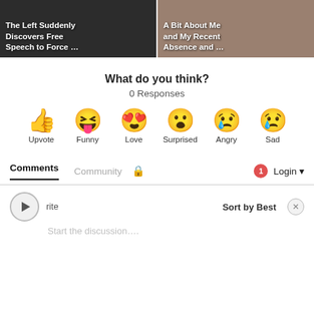[Figure (screenshot): Two article thumbnail cards side by side. Left card has dark background with white bold text: 'The Left Suddenly Discovers Free Speech to Force …'. Right card has photo background with white bold text: 'A Bit About Me and My Recent Absence and …']
What do you think?
0 Responses
[Figure (infographic): Six reaction emoji buttons in a row: Upvote (thumbs up), Funny (laughing face with tongue), Love (heart eyes), Surprised (open mouth), Angry (crying/angry), Sad (crying with tear). Each emoji has a label below it.]
Comments   Community   🔒     1   Login ▾
▶ rite   Sort by Best   ✕
Start the discussion….